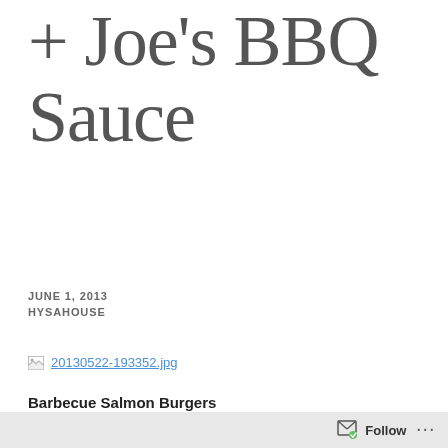+ Joe's BBQ Sauce
JUNE 1, 2013
HYSAHOUSE
[Figure (photo): Broken image link: 20130522-193352.jpg]
Barbecue Salmon Burgers
2 pounds fresh wild salmon, de-boned
Follow